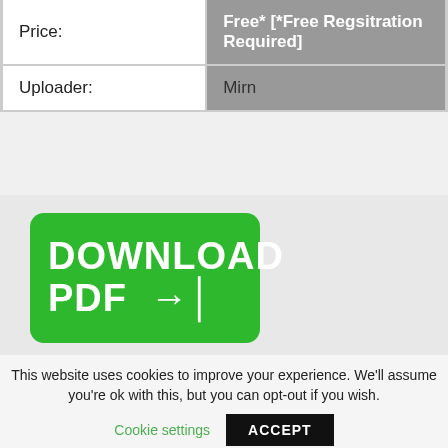|  |  |
| --- | --- |
| Price: | Free* [*Free Regsitration Required] |
| Uploader: | Mirn |
[Figure (other): Green rounded rectangle download button with text 'DOWNLOAD PDF' and a right-arrow icon]
This website uses cookies to improve your experience. We'll assume you're ok with this, but you can opt-out if you wish.
Cookie settings   ACCEPT